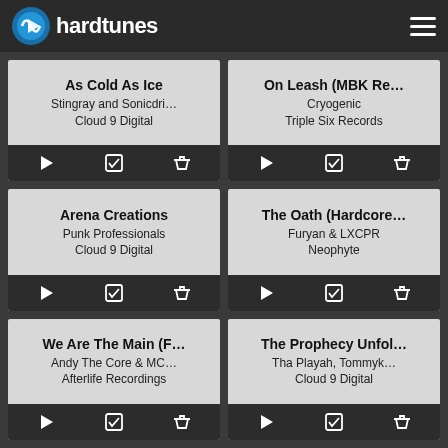hardtunes
As Cold As Ice
Stingray and Sonicdri...
Cloud 9 Digital
On Leash (MBK Re...
Cryogenic
Triple Six Records
Arena Creations
Punk Professionals
Cloud 9 Digital
The Oath (Hardcore...
Furyan & LXCPR
Neophyte
We Are The Main (F...
Andy The Core & MC...
Afterlife Recordings
The Prophecy Unfol...
Tha Playah, Tommyk...
Cloud 9 Digital